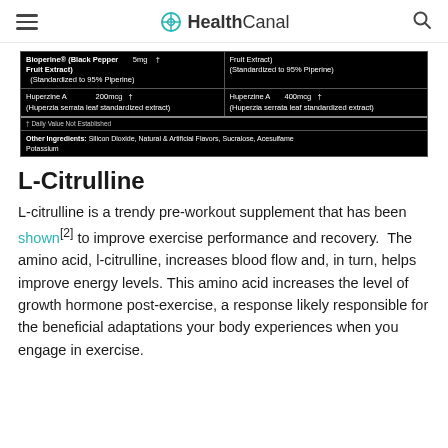HealthCanal
[Figure (table-as-image): Supplement facts label snippet showing Bioperine (Black Pepper Fruit Extract) Standardized to 95% Piperine 5mg, Huperzine A 200mcg on left column; Fruit Extract Standardized to 95% Piperine, Huperzine A 400mcg on right column. Footer: Daily Value Not Established. Other Ingredients: Silicon Dioxide, Natural & Artificial Flavors, Sucralose, Acesulfame Potassium]
L-Citrulline
L-citrulline is a trendy pre-workout supplement that has been shown[2] to improve exercise performance and recovery. The amino acid, l-citrulline, increases blood flow and, in turn, helps improve energy levels. This amino acid increases the level of growth hormone post-exercise, a response likely responsible for the beneficial adaptations your body experiences when you engage in exercise.